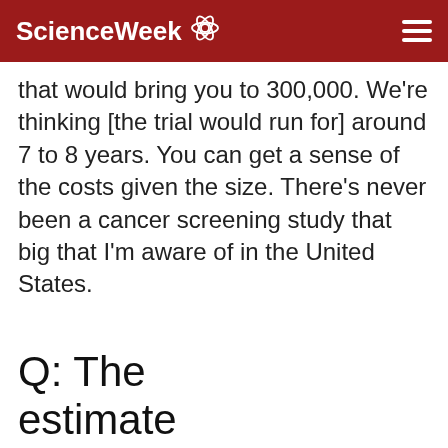ScienceWeek
that would bring you to 300,000. We're thinking [the trial would run for] around 7 to 8 years. You can get a sense of the costs given the size. There's never been a cancer screening study that big that I'm aware of in the United States.
Q: The estimate from past studi...